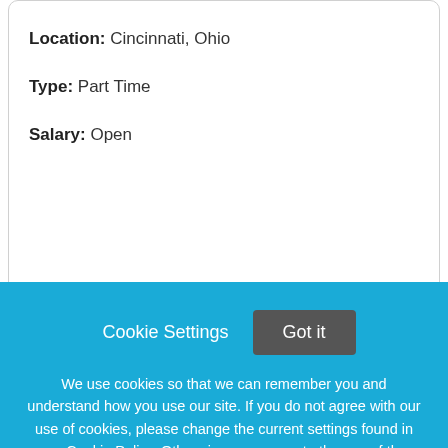Location: Cincinnati, Ohio
Type: Part Time
Salary: Open
Internal Number: R-79025
Job Description:
VCA College Hill Animal Hospital is seeking an
Cookie Settings  Got it

We use cookies so that we can remember you and understand how you use our site. If you do not agree with our use of cookies, please change the current settings found in our Cookie Policy. Otherwise, you agree to the use of the cookies as they are currently set.